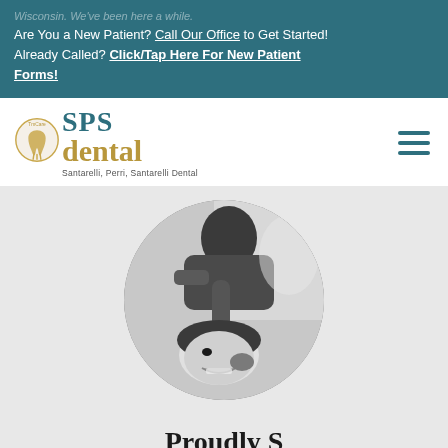Wisconsin. We've been here a while.
Are You a New Patient? Call Our Office to Get Started! Already Called? Click/Tap Here For New Patient Forms!
[Figure (logo): SPS Dental logo with tooth icon — Santarelli, Perri, Santarelli Dental]
[Figure (photo): Black and white circular photo of a dentist examining a child patient who is smiling]
Proudly S...